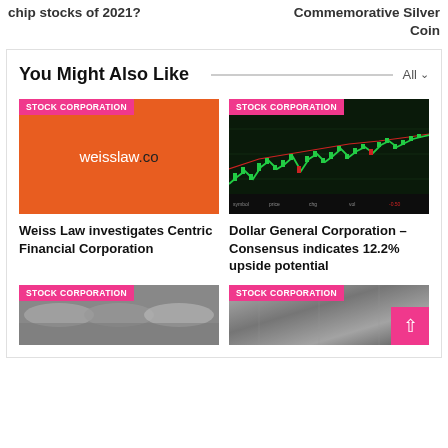chip stocks of 2021?
Commemorative Silver Coin
You Might Also Like
[Figure (illustration): Weiss Law logo on orange background]
Weiss Law investigates Centric Financial Corporation
[Figure (screenshot): Stock market chart showing green candlestick chart on dark background]
Dollar General Corporation – Consensus indicates 12.2% upside potential
[Figure (photo): Steel/metal industrial photo]
[Figure (photo): Silver metallic surface photo]